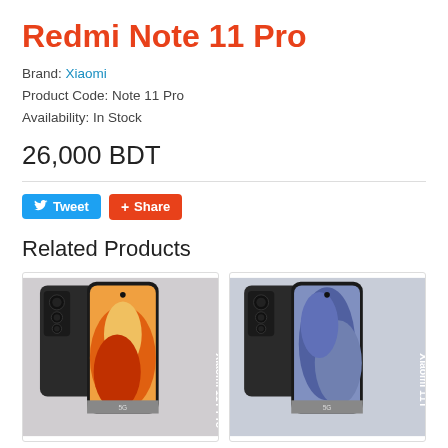Redmi Note 11 Pro
Brand: Xiaomi
Product Code: Note 11 Pro
Availability: In Stock
26,000 BDT
[Figure (other): Tweet and Share social media buttons]
Related Products
[Figure (photo): Xiaomi 11T Pro smartphone photo showing back and front of device]
[Figure (photo): Xiaomi 11T smartphone photo showing back and front of device]